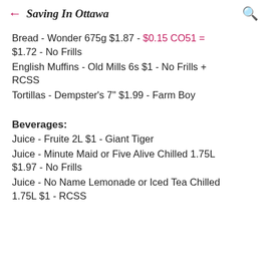← Saving In Ottawa
Bread - Wonder 675g $1.87 - $0.15 CO51 = $1.72 - No Frills
English Muffins - Old Mills 6s $1 - No Frills + RCSS
Tortillas - Dempster's 7" $1.99 - Farm Boy
Beverages:
Juice - Fruite 2L $1 - Giant Tiger
Juice - Minute Maid or Five Alive Chilled 1.75L $1.97 - No Frills
Juice - No Name Lemonade or Iced Tea Chilled 1.75L $1 - RCSS